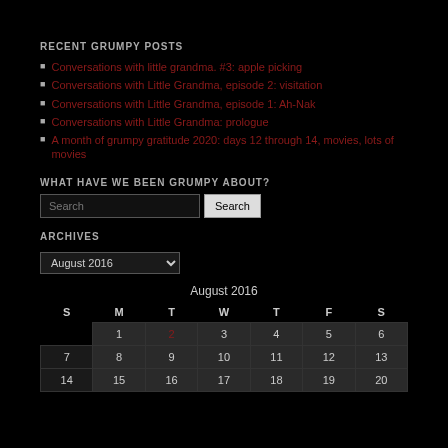RECENT GRUMPY POSTS
Conversations with little grandma. #3: apple picking
Conversations with Little Grandma, episode 2: visitation
Conversations with Little Grandma, episode 1: Ah-Nak
Conversations with Little Grandma: prologue
A month of grumpy gratitude 2020: days 12 through 14, movies, lots of movies
WHAT HAVE WE BEEN GRUMPY ABOUT?
ARCHIVES
| S | M | T | W | T | F | S |
| --- | --- | --- | --- | --- | --- | --- |
|  | 1 | 2 | 3 | 4 | 5 | 6 |
| 7 | 8 | 9 | 10 | 11 | 12 | 13 |
| 14 | 15 | 16 | 17 | 18 | 19 | 20 |